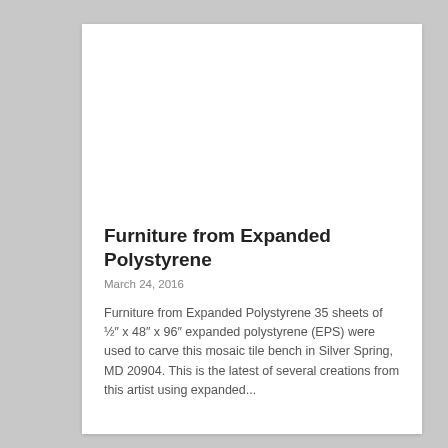Furniture from Expanded Polystyrene
March 24, 2016
Furniture from Expanded Polystyrene 35 sheets of ½" x 48" x 96" expanded polystyrene (EPS) were used to carve this mosaic tile bench in Silver Spring, MD 20904. This is the latest of several creations from this artist using expanded...